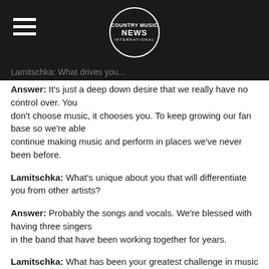COUNTRY MUSIC NEWS INTERNATIONAL
Lamitschka:  What drives you...
Answer:  It's just a deep down desire that we really have no control over. You don't choose music, it chooses you. To keep growing our fan base so we're able continue making music and perform in places we've never been before.
Lamitschka:  What's unique about you that will differentiate you from other artists?
Answer:  Probably the songs and vocals. We're blessed with having three singers in the band that have been working together for years.
Lamitschka:  What has been your greatest challenge in music business?
Answer:Living in a relatively small town. It would have been easier and more